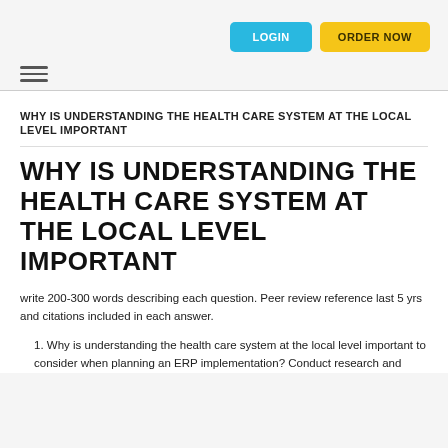LOGIN | ORDER NOW
WHY IS UNDERSTANDING THE HEALTH CARE SYSTEM AT THE LOCAL LEVEL IMPORTANT
WHY IS UNDERSTANDING THE HEALTH CARE SYSTEM AT THE LOCAL LEVEL IMPORTANT
write 200-300 words describing each question. Peer review reference last 5 yrs and citations included in each answer.
1. Why is understanding the health care system at the local level important to consider when planning an ERP implementation? Conduct research and